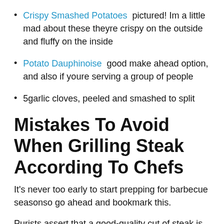Crispy Smashed Potatoes pictured! Im a little mad about these theyre crispy on the outside and fluffy on the inside
Potato Dauphinoise good make ahead option, and also if youre serving a group of people
5garlic cloves, peeled and smashed to split
Mistakes To Avoid When Grilling Steak According To Chefs
It's never too early to start prepping for barbecue seasonso go ahead and bookmark this.
Purists assert that a good-quality cut of steak is done ill justice at the hands of an overzealous grill. Contrast that to